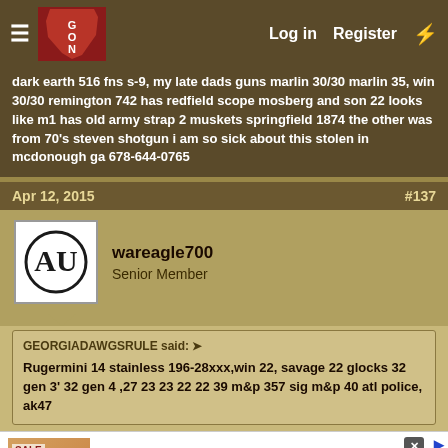GON forum header with Log in, Register, and lightning bolt links
dark earth 516 fns s-9, my late dads guns marlin 30/30 marlin 35, win 30/30 remington 742 has redfield scope mosberg and son 22 looks like m1 has old army strap 2 muskets springfield 1874 the other was from 70's steven shotgun i am so sick about this stolen in mcdonough ga 678-644-0765
Apr 12, 2015  #137
wareagle700
Senior Member
GEORGIADAWGSRULE said: ➤
Rugermini 14 stainless 196-28xxx,win 22, savage 22 glocks 32 gen 3' 32 gen 4 ,27 23 23 22 22 39 m&p 357 sig m&p 40 atl police, ak47
[Figure (screenshot): Advertisement for Cheryl's Cookie Delivery showing cookie image, blue title, description text, cheryls.com URL, and a blue circular CTA button with arrow]